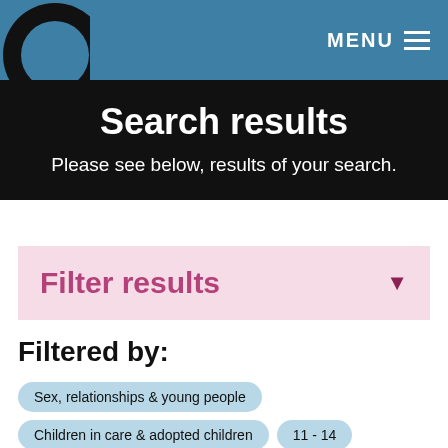MENU
Search results
Please see below, results of your search.
Filter results
Filtered by:
Sex, relationships & young people
Children in care & adopted children
11 - 14
Activity
4 - 7
Advice article